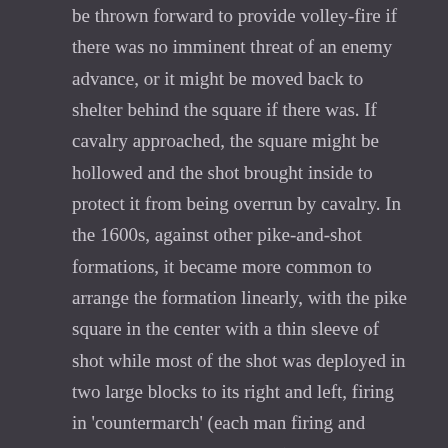be thrown forward to provide volley-fire if there was no imminent threat of an enemy advance, or it might be moved back to shelter behind the square if there was. If cavalry approached, the square might be hollowed and the shot brought inside to protect it from being overrun by cavalry. In the 1600s, against other pike-and-shot formations, it became more common to arrange the formation linearly, with the pike square in the center with a thin sleeve of shot while most of the shot was deployed in two large blocks to its right and left, firing in 'countermarch' (each man firing and moving to the rear to reload) in order to bring the full potential firepower of the formation to bear.

Indeed it is worth expanding on that point: volley fire. The great limitation for firearms (and to a lesser extent